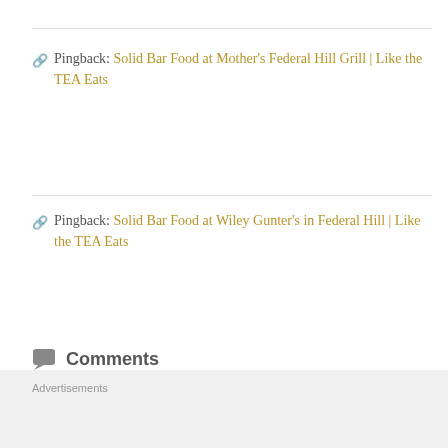Pingback: Solid Bar Food at Mother's Federal Hill Grill | Like the TEA Eats
Pingback: Solid Bar Food at Wiley Gunter's in Federal Hill | Like the TEA Eats
Comments
Enter your comment here...
Advertisements